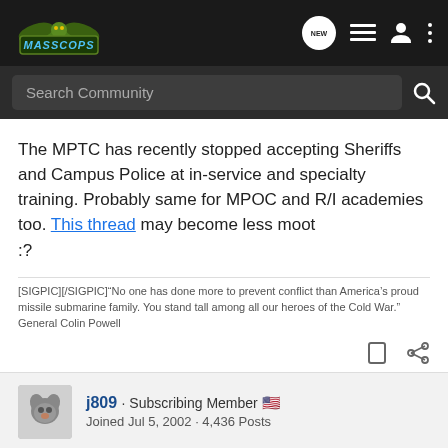[Figure (screenshot): MassCops forum website header with logo, search bar, and navigation icons]
The MPTC has recently stopped accepting Sheriffs and Campus Police at in-service and specialty training. Probably same for MPOC and R/I academies too. This thread may become less moot
:?
[SIGPIC][/SIGPIC]"No one has done more to prevent conflict than America's proud missile submarine family. You stand tall among all our heroes of the Cold War." General Colin Powell
j809 · Subscribing Member
Joined Jul 5, 2002 · 4,436 Posts